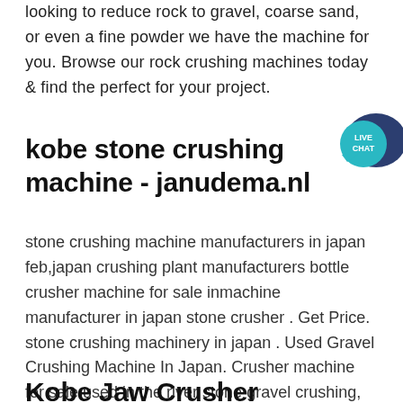looking to reduce rock to gravel, coarse sand, or even a fine powder we have the machine for you. Browse our rock crushing machines today & find the perfect for your project.
kobe stone crushing machine - janudema.nl
stone crushing machine manufacturers in japan feb,japan crushing plant manufacturers bottle crusher machine for sale inmachine manufacturer in japan stone crusher . Get Price. stone crushing machinery in japan . Used Gravel Crushing Machine In Japan. Crusher machine for sale used in the river stone gravel crushing, SBM is a crusher machine ...
Kobe Jaw Crusher